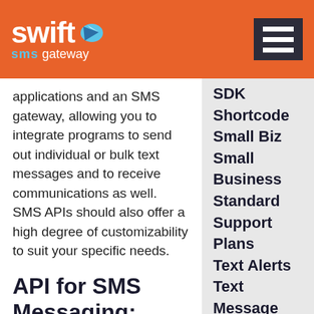Swift SMS Gateway
applications and an SMS gateway, allowing you to integrate programs to send out individual or bulk text messages and to receive communications as well. SMS APIs should also offer a high degree of customizability to suit your specific needs.
API for SMS Messaging: Basic Categories
Before you can begin setting up automated SMS-based notifications and
SDK
Shortcode
Small Biz
Small Business
Standard
Support
Plans
Text Alerts
Text
Message
Marketing
Toll F...